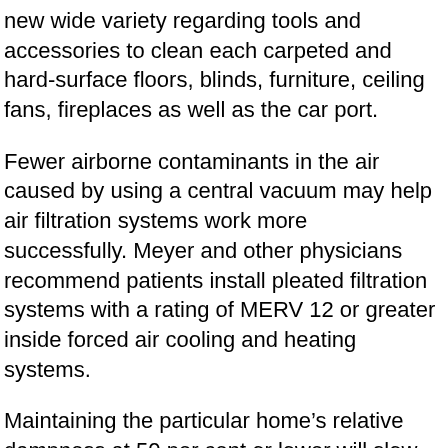new wide variety regarding tools and accessories to clean each carpeted and hard-surface floors, blinds, furniture, ceiling fans, fireplaces as well as the car port.
Fewer airborne contaminants in the air caused by using a central vacuum may help air filtration systems work more successfully. Meyer and other physicians recommend patients install pleated filtration systems with a rating of MERV 12 or greater inside forced air cooling and heating systems.
Maintaining the particular home’s relative dampness at 50 per cent or lower will slow the progress of dust paziente populations, thereby restricting patients’ exposure.